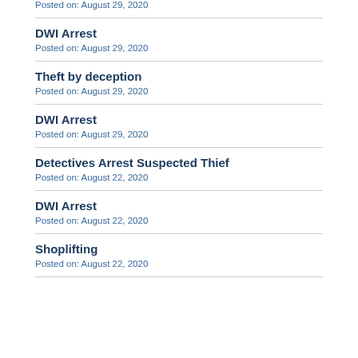Posted on: August 29, 2020
DWI Arrest
Posted on: August 29, 2020
Theft by deception
Posted on: August 29, 2020
DWI Arrest
Posted on: August 29, 2020
Detectives Arrest Suspected Thief
Posted on: August 22, 2020
DWI Arrest
Posted on: August 22, 2020
Shoplifting
Posted on: August 22, 2020